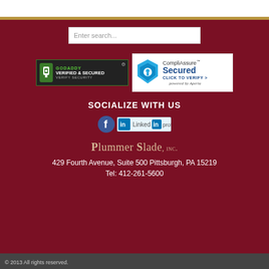[Figure (screenshot): GoDaddy Verified & Secured badge and CompliAssure Secured badge side by side]
SOCIALIZE WITH US
[Figure (logo): Facebook icon and LinkedIn profile badge]
Plummer Slade, Inc.
429 Fourth Avenue, Suite 500 Pittsburgh, PA 15219
Tel: 412-261-5600
© 2013 All rights reserved.